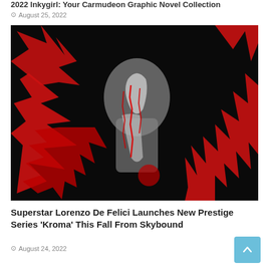2022 Inkygirl: Your Carmudeon Graphic Novel Collection
August 25, 2022
[Figure (illustration): Dark dramatic illustration with black background showing a figure with red spiked/thorned organic shapes overlaid, creating a horror/fantasy graphic novel aesthetic.]
Superstar Lorenzo De Felici Launches New Prestige Series 'Kroma' This Fall From Skybound
August 24, 2022